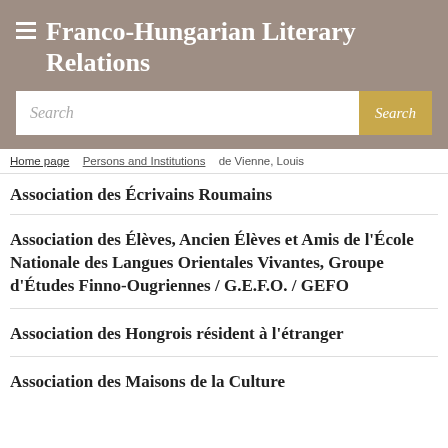Franco-Hungarian Literary Relations
Search
Home page > Persons and Institutions > de Vienne, Louis
Association des Écrivains Roumains
Association des Élèves, Ancien Élèves et Amis de l'École Nationale des Langues Orientales Vivantes, Groupe d'Études Finno-Ougriennes / G.E.F.O. / GEFO
Association des Hongrois résident à l'étranger
Association des Maisons de la Culture